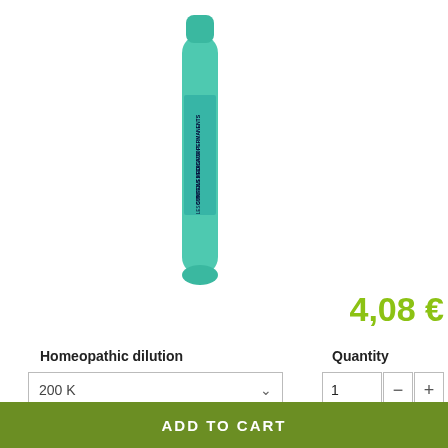[Figure (photo): Teal/cyan homeopathic dose tube (Boiron) with vertical text on label, partially visible, on white background]
4,08 €
Homeopathic dilution
Quantity
200 K
1
In stock
Reference: 3400300768865
Arsenicum album 200K 1000K 10000K Dose cells Homeopathy Boiron
Homeopathic dilution strain Korsakovian
200 K, 1000 K (or MK or 1MK)
10,000 K (or XMK or 10 MK)
ADD TO CART